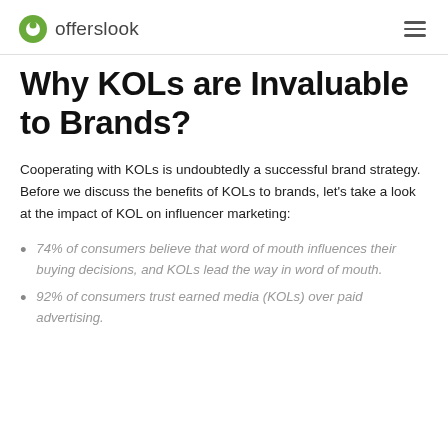offerslook
Why KOLs are Invaluable to Brands?
Cooperating with KOLs is undoubtedly a successful brand strategy. Before we discuss the benefits of KOLs to brands, let's take a look at the impact of KOL on influencer marketing:
74% of consumers believe that word of mouth influences their buying decisions, and KOLs lead the way in word of mouth.
92% of consumers trust earned media (KOLs) over paid advertising.